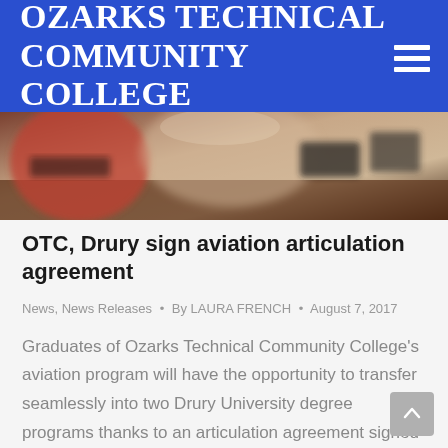Ozarks Technical Community College
[Figure (photo): Blurred photo of people at a desk or table, signing documents, with a red garment visible on the left side.]
OTC, Drury sign aviation articulation agreement
News, News Releases • By LAURA FRENCH • August 7, 2017
Graduates of Ozarks Technical Community College's aviation program will have the opportunity to transfer seamlessly into two Drury University degree programs thanks to an articulation agreement signed today, Monday, Aug. 7. OTC aviation program graduates will be able to pursue a Bachelor of Science in General Studies or